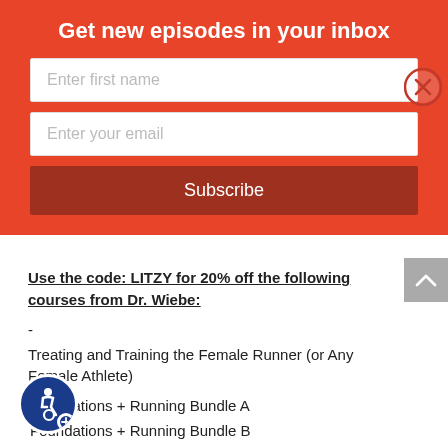Get new episodes in your inbox
Enter first name
Enter your email
Subscribe
Use the code: LITZY for 20% off the following courses from Dr. Wiebe:
-
Treating and Training the Female Runner (or Any Female Athlete)
Foundations + Running Bundle A
Foundations + Running Bundle B